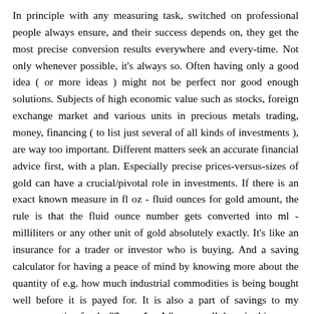In principle with any measuring task, switched on professional people always ensure, and their success depends on, they get the most precise conversion results everywhere and every-time. Not only whenever possible, it's always so. Often having only a good idea ( or more ideas ) might not be perfect nor good enough solutions. Subjects of high economic value such as stocks, foreign exchange market and various units in precious metals trading, money, financing ( to list just several of all kinds of investments ), are way too important. Different matters seek an accurate financial advice first, with a plan. Especially precise prices-versus-sizes of gold can have a crucial/pivotal role in investments. If there is an exact known measure in fl oz - fluid ounces for gold amount, the rule is that the fluid ounce number gets converted into ml - milliliters or any other unit of gold absolutely exactly. It's like an insurance for a trader or investor who is buying. And a saving calculator for having a peace of mind by knowing more about the quantity of e.g. how much industrial commodities is being bought well before it is payed for. It is also a part of savings to my superannuation funds. "Super funds" as we call them in this